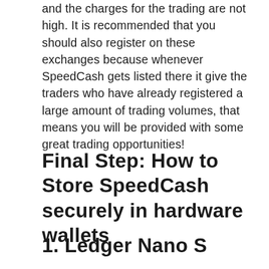and the charges for the trading are not high. It is recommended that you should also register on these exchanges because whenever SpeedCash gets listed there it give the traders who have already registered a large amount of trading volumes, that means you will be provided with some great trading opportunities!
Final Step: How to Store SpeedCash securely in hardware wallets
1. Ledger Nano S